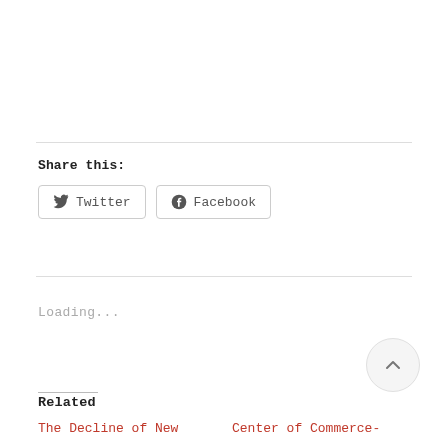Share this:
Twitter
Facebook
Loading...
Related
The Decline of New
Center of Commerce-